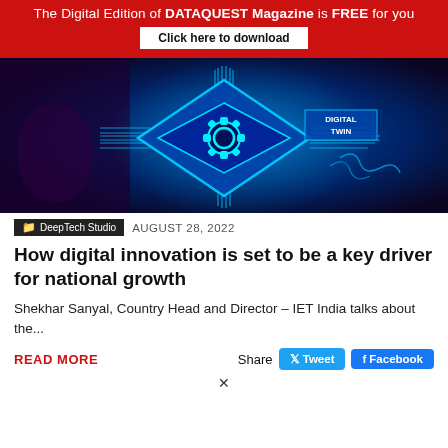The Digital Edition of DATAQUEST Magazine is FREE for you
Click here to download
[Figure (photo): A person interacting with a glowing blue digital circuit board with 'DIGITAL TWIN' text and a gear icon, representing digital twin technology.]
DeepTech Studio   AUGUST 28, 2022
How digital innovation is set to be a key driver for national growth
Shekhar Sanyal, Country Head and Director – IET India talks about the...
READ MORE
Share  Tweet  Facebook